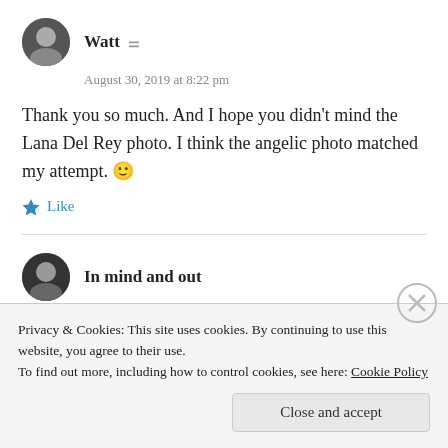Watt
August 30, 2019 at 8:22 pm
Thank you so much. And I hope you didn't mind the Lana Del Rey photo. I think the angelic photo matched my attempt. 🙂
Like
In mind and out
August 30, 2019 at 8:31 pm
Privacy & Cookies: This site uses cookies. By continuing to use this website, you agree to their use. To find out more, including how to control cookies, see here: Cookie Policy
Close and accept